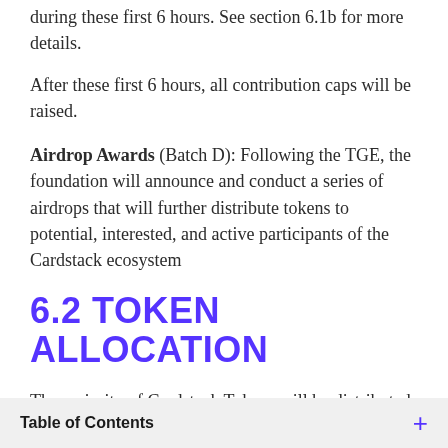during these first 6 hours. See section 6.1b for more details.
After these first 6 hours, all contribution caps will be raised.
Airdrop Awards (Batch D): Following the TGE, the foundation will announce and conduct a series of airdrops that will further distribute tokens to potential, interested, and active participants of the Cardstack ecosystem
6.2 TOKEN ALLOCATION
The majority of Cardstack Tokens will be distributed to end
Table of Contents +